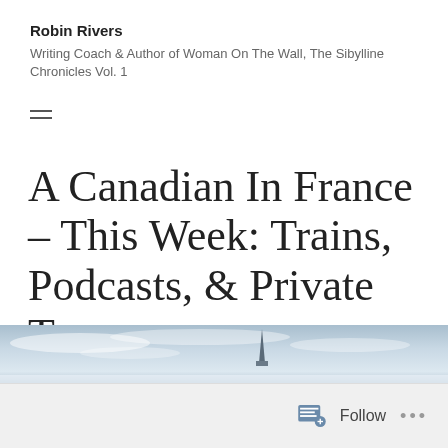Robin Rivers
Writing Coach & Author of Woman On The Wall, The Sibylline Chronicles Vol. 1
A Canadian In France – This Week: Trains, Podcasts, & Private Tours
[Figure (photo): Partial photo strip at bottom showing sky with clouds and a spire or tower visible on the right side]
Follow ...